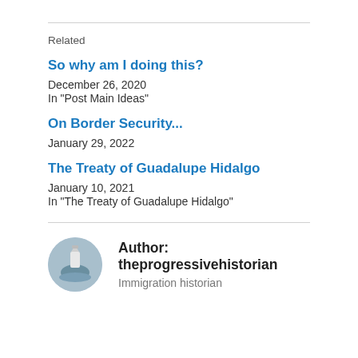Related
So why am I doing this?
December 26, 2020
In "Post Main Ideas"
On Border Security...
January 29, 2022
The Treaty of Guadalupe Hidalgo
January 10, 2021
In "The Treaty of Guadalupe Hidalgo"
Author: theprogressivehistorian
Immigration historian